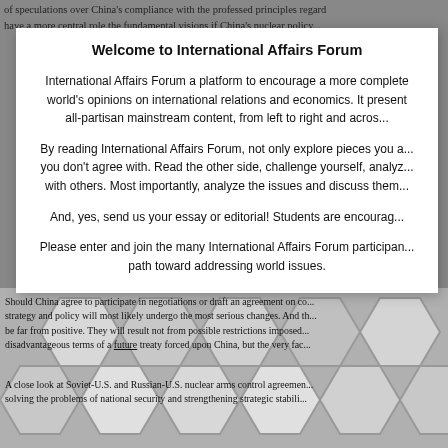of speculations over China's compliance with the professed principles rega... have a more central role the fundamental visions if China's nuclear policy...
Welcome to International Affairs Forum
International Affairs Forum a platform to encourage a more complete world's opinions on international relations and economics. It present all-partisan mainstream content, from left to right and acros...
By reading International Affairs Forum, not only explore pieces you a... you don't agree with. Read the other side, challenge yourself, analyz... with others. Most importantly, analyze the issues and discuss them...
And, yes, send us your essay or editorial! Students are encourag...
Please enter and join the many International Affairs Forum participan... path toward addressing world issues.
Should China agree to participate in negotiations or draft an agreement on co... strategy and policy will most likely undergo the most serious changes. And th... be far from positive. They will result not from possible restrictions imposed... disadvantageous terms of a future treaty forced upon China, but the very fac...
A close look at Soviet-U.S. and Russian-U.S. nuclear arms control agreemen... solving the problems of national security and strengthening strategic stabili...